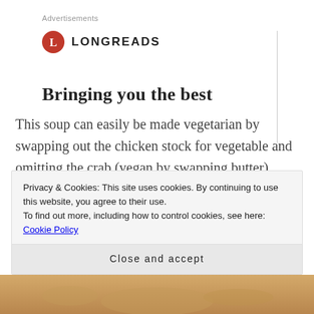Advertisements
[Figure (logo): Longreads logo: red circle with white L, followed by LONGREADS in bold caps]
Bringing you the best
This soup can easily be made vegetarian by swapping out the chicken stock for vegetable and omitting the crab (vegan by swapping butter).
Speaking of butter, with only one tablespoon used and...
Privacy & Cookies: This site uses cookies. By continuing to use this website, you agree to their use.
To find out more, including how to control cookies, see here: Cookie Policy
Close and accept
[Figure (photo): Bottom strip showing a food photograph (soup or similar dish)]